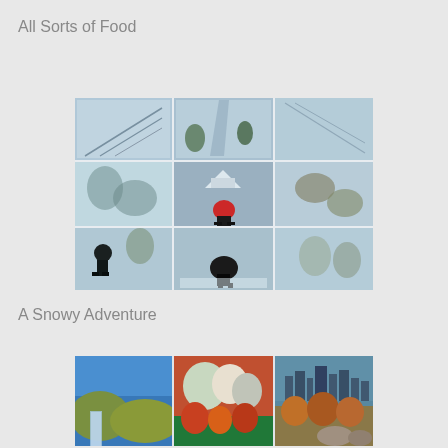All Sorts of Food
[Figure (photo): A collage of winter snow scene photographs showing snowy landscapes, trees covered in snow, people walking in snow, and aerial views of snow-covered areas.]
A Snowy Adventure
[Figure (photo): A collage of autumn/fall season photographs showing colorful foliage, landscapes, waterfalls, and city skylines during fall season.]